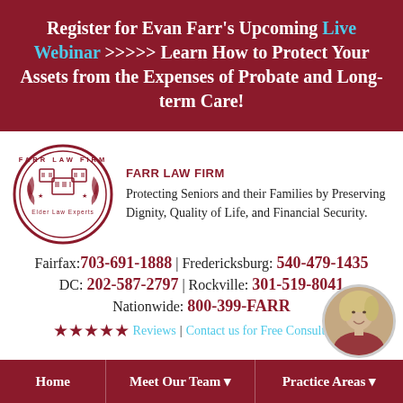Register for Evan Farr's Upcoming Live Webinar >>>>> Learn How to Protect Your Assets from the Expenses of Probate and Long-term Care!
[Figure (logo): Farr Law Firm circular logo with 'Farr Law Firm Elder Law Experts' text and building icons]
FARR LAW FIRM
Protecting Seniors and their Families by Preserving Dignity, Quality of Life, and Financial Security.
Fairfax: 703-691-1888 | Fredericksburg: 540-479-1435
DC: 202-587-2797 | Rockville: 301-519-8041
Nationwide: 800-399-FARR
★★★★★ Reviews | Contact us for Free Consultation
[Figure (photo): Circular headshot photo of a woman with blonde hair]
Home | Meet Our Team ▾ | Practice Areas ▾